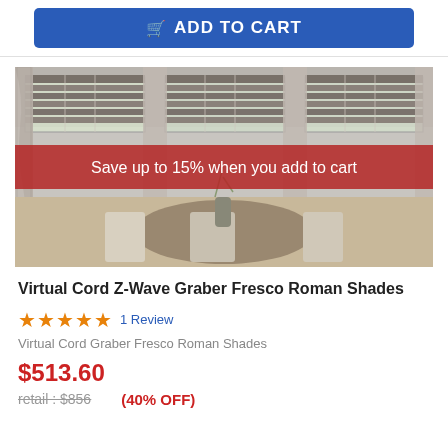[Figure (other): Blue Add to Cart button with shopping cart icon]
[Figure (photo): Room scene showing Roman shades and curtains on windows above a dining table with chairs, with a red promotional banner overlay reading 'Save up to 15% when you add to cart']
Virtual Cord Z-Wave Graber Fresco Roman Shades
★★★★★ 1 Review
Virtual Cord Graber Fresco Roman Shades
$513.60
retail: $856   (40% OFF)